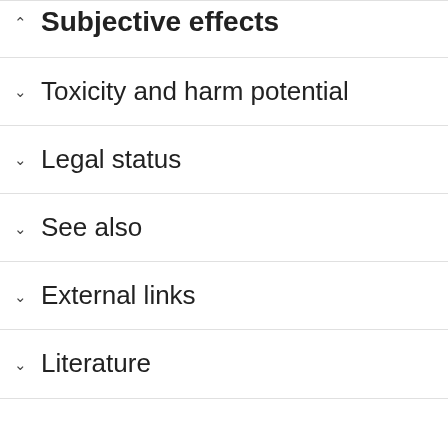Subjective effects
Toxicity and harm potential
Legal status
See also
External links
Literature